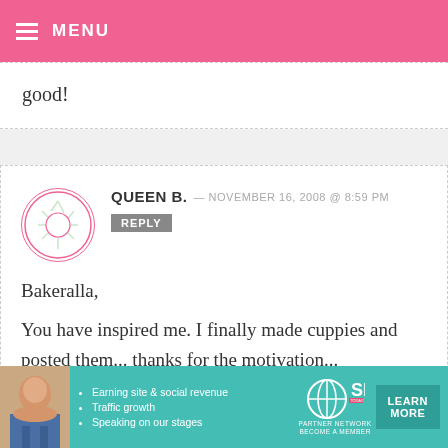MENU
good!
QUEEN B. — NOVEMBER 16, 2008 @ 8:59 PM
REPLY

Bakeralla,

You have inspired me. I finally made cuppies and posted them... thanks for the motivation...
[Figure (other): SHE Partner Network advertisement banner with photo of a woman, bullet points about earning site & social revenue, traffic growth, speaking on our stages, SHE logo, and a Learn More button]